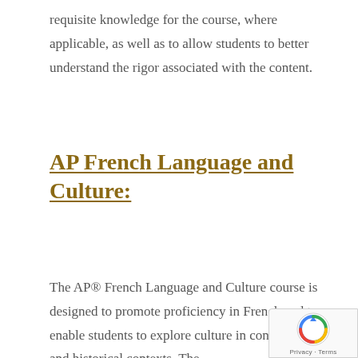requisite knowledge for the course, where applicable, as well as to allow students to better understand the rigor associated with the content.
AP French Language and Culture:
The AP® French Language and Culture course is designed to promote proficiency in French and to enable students to explore culture in contemporary and historical contexts. The